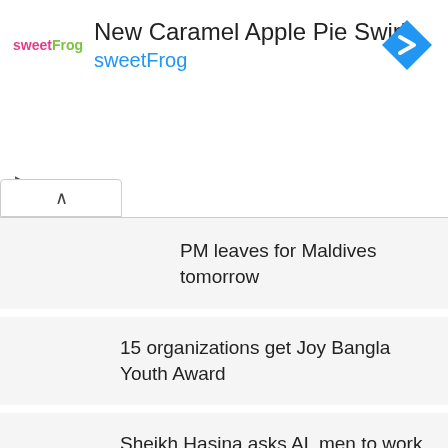[Figure (infographic): Advertisement banner for sweetFrog: New Caramel Apple Pie Swirl with sweetFrog logo, blue navigation arrow icon, and collapse/controls buttons]
PM leaves for Maldives tomorrow
15 organizations get Joy Bangla Youth Award
Sheikh Hasina asks AL men to work together for NCC polls
Govt seeks to strengthen Bangladesh Navy's capabilities further: PM
PM for continuing friendly relations with